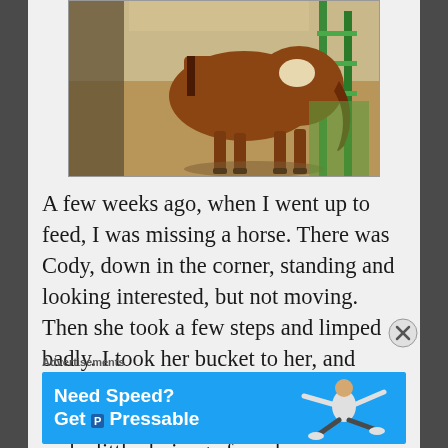[Figure (photo): A brown/chestnut horse standing in a dirt paddock area near a green metal fence, viewed from behind/side. Sunny day, outdoor ranch setting.]
A few weeks ago, when I went up to feed, I was missing a horse. There was Cody, down in the corner, standing and looking interested, but not moving. Then she took a few steps and limped badly. I took her bucket to her, and walked around her to see if I could find the problem. There was a lot of swelling and a little drainage from her
Advertisements
[Figure (infographic): Advertisement banner for Pressable hosting service. Blue background with white bold text 'Need Speed? Get Pressable' with a stylized figure sliding/running graphic.]